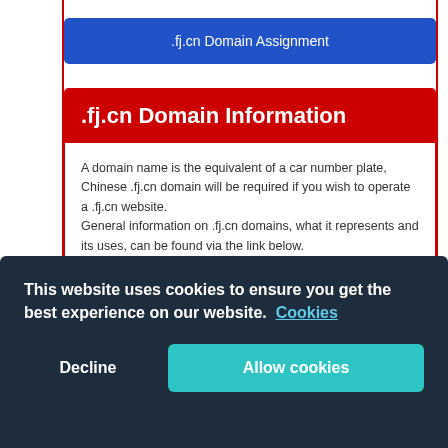.fj.cn Domain Assignment
.fj.cn Domain Information
A domain name is the equivalent of a car number plate, Chinese .fj.cn domain will be required if you wish to operate a .fj.cn website.
General information on .fj.cn domains, what it represents and its uses, can be found via the link below.
.fj.cn Domain Information
This website uses cookies to ensure you get the best experience on our website.  Cookies
Decline
Allow cookies